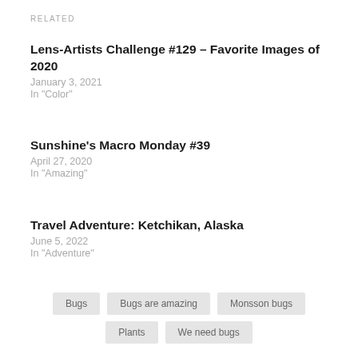RELATED
Lens-Artists Challenge #129 – Favorite Images of 2020
January 3, 2021
In "Color"
Sunshine's Macro Monday #39
April 27, 2020
In "Amazing"
Travel Adventure: Ketchikan, Alaska
June 5, 2022
In "Adventure"
Bugs
Bugs are amazing
Monsson bugs
Plants
We need bugs